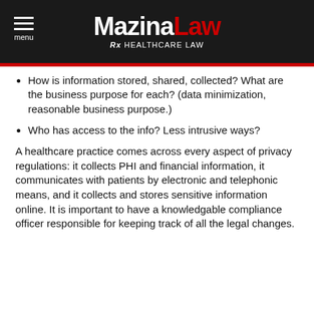MazinaLaw Rx HEALTHCARE LAW
How is information stored, shared, collected? What are the business purpose for each? (data minimization, reasonable business purpose.)
Who has access to the info? Less intrusive ways?
A healthcare practice comes across every aspect of privacy regulations: it collects PHI and financial information, it communicates with patients by electronic and telephonic means, and it collects and stores sensitive information online. It is important to have a knowledgable compliance officer responsible for keeping track of all the legal changes.